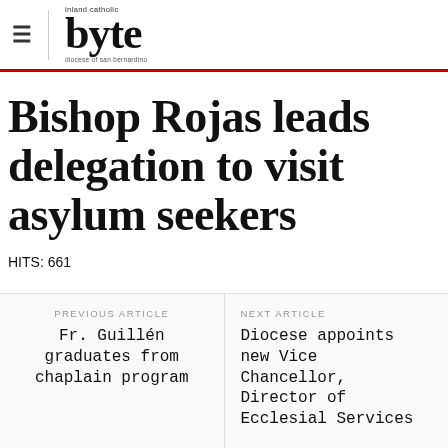inland catholic byte — diocese of san bernardino
Bishop Rojas leads delegation to visit asylum seekers
HITS: 661
PREVIOUS ARTICLE
Fr. Guillén graduates from chaplain program
NEXT ARTICLE
Diocese appoints new Vice Chancellor, Director of Ecclesial Services